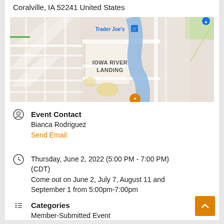Coralville, IA 52241 United States
[Figure (map): Google Maps screenshot showing Iowa River Landing area in Coralville, IA. Shows Trader Joe's label with shopping cart icon, a blue river running through the center, roads, and green area in bottom right. An orange location marker is at the bottom center.]
Event Contact
Bianca Rodriguez
Send Email
Thursday, June 2, 2022 (5:00 PM - 7:00 PM) (CDT)
Come out on June 2, July 7, August 11 and September 1 from 5:00pm-7:00pm
Categories
Member-Submitted Event